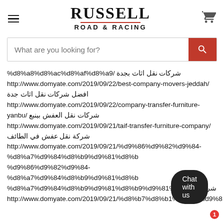[Figure (logo): Russell Road & Racing logo with hamburger menu icon on left and shopping cart icon on right]
What are you looking for? [search bar with red search button]
%d8%a8%d8%ac%d8%af%d8%a9/ شركات نقل اثاث بجدة http://www.domyate.com/2019/09/22/best-company-movers-jeddah/ افضل شركات نقل اثاث جدة http://www.domyate.com/2019/09/22/company-transfer-furniture-yanbu/ شركات نقل العفش بينبع http://www.domyate.com/2019/09/21/taif-transfer-furniture-company/ شركة نقل عفش في الطائف http://www.domyate.com/2019/09/21/%d9%86%d9%82%d9%84-%d8%a7%d9%84%d8%b9%d9%81%d8%b4 شركات http://www.domyate.com/2019/09/21/%d8%b7%d8%b1%d9%81